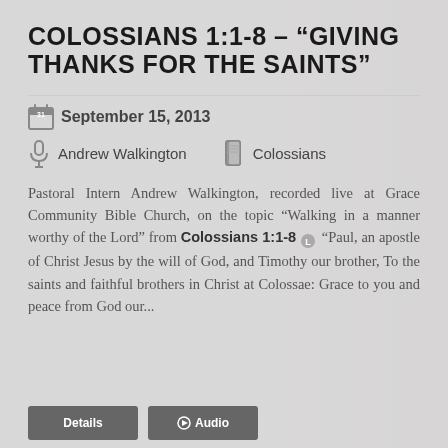COLOSSIANS 1:1-8 – “GIVING THANKS FOR THE SAINTS”
September 15, 2013
Andrew Walkington   Colossians
Pastoral Intern Andrew Walkington, recorded live at Grace Community Bible Church, on the topic “Walking in a manner worthy of the Lord” from Colossians 1:1-8 “Paul, an apostle of Christ Jesus by the will of God, and Timothy our brother, To the saints and faithful brothers in Christ at Colossae: Grace to you and peace from God our...